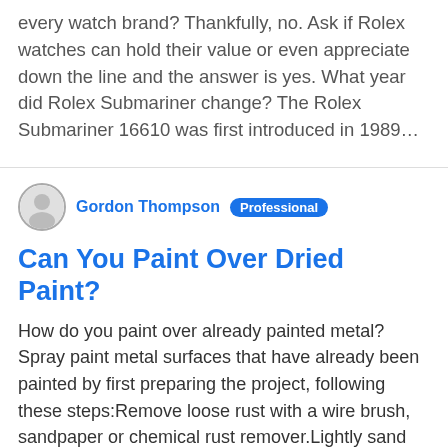every watch brand? Thankfully, no. Ask if Rolex watches can hold their value or even appreciate down the line and the answer is yes. What year did Rolex Submariner change? The Rolex Submariner 16610 was first introduced in 1989…
Gordon Thompson  Professional
Can You Paint Over Dried Paint?
How do you paint over already painted metal? Spray paint metal surfaces that have already been painted by first preparing the project, following these steps:Remove loose rust with a wire brush, sandpaper or chemical rust remover.Lightly sand the metal surface.Remove dust with a tack cloth.. How do you paint over peeling paint?